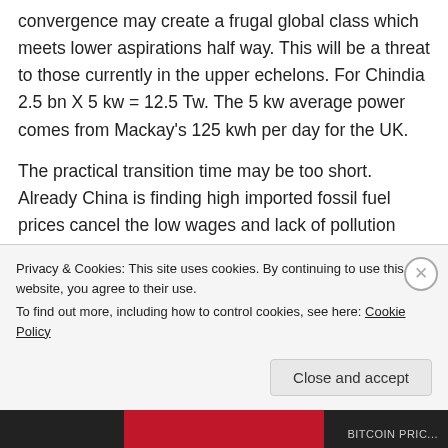convergence may create a frugal global class which meets lower aspirations half way. This will be a threat to those currently in the upper echelons. For Chindia 2.5 bn X 5 kw = 12.5 Tw. The 5 kw average power comes from Mackay's 125 kwh per day for the UK.
The practical transition time may be too short. Already China is finding high imported fossil fuel prices cancel the low wages and lack of pollution controls http://www.theglobeandmail.com/report-
Privacy & Cookies: This site uses cookies. By continuing to use this website, you agree to their use.
To find out more, including how to control cookies, see here: Cookie Policy